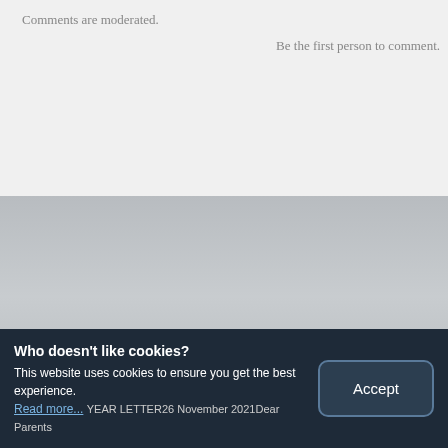Comments are moderated.
Be the first person to comment.
LATEST NEWS...
to Principal 26 November
YEAR LETTER26 November 2021Dear Parents
Who doesn't like cookies? This website uses cookies to ensure you get the best experience. Read more...